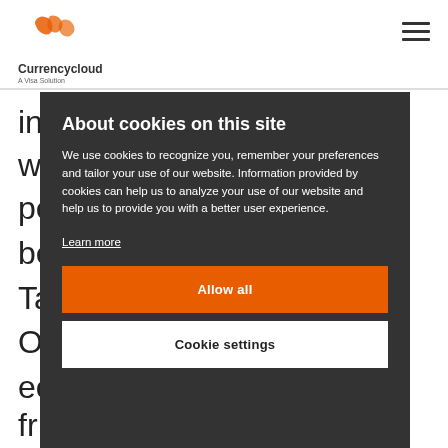Currencycloud – A Visa Solution
in w pe be Ta O ec fr workers need protection, whether that's for
About cookies on this site
We use cookies to recognize you, remember your preferences and tailor your use of our website. Information provided by cookies can help us to analyze your use of our website and help us to provide you with a better user experience.
Learn more
Allow all
Cookie settings